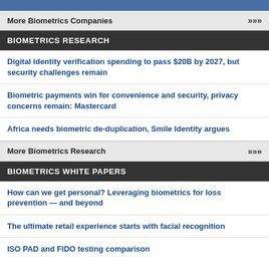More Biometrics Companies >>>
BIOMETRICS RESEARCH
Digital identity verification spending to pass $20B by 2027, but security challenges remain
Biometric payments win for convenience and security, privacy concerns remain: Mastercard
Africa needs biometric de-duplication, Smile Identity argues
More Biometrics Research >>>
BIOMETRICS WHITE PAPERS
How can we get personal? Leveraging biometrics for loss prevention — and beyond
The ultimate retail experience starts with facial recognition
ISO PAD and FIDO testing comparison